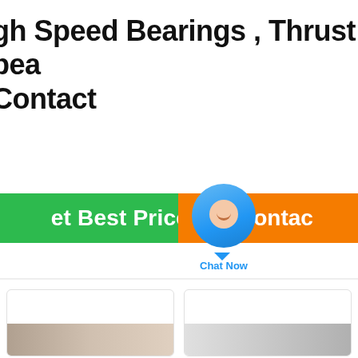gh Speed Bearings , Thrust bea Contact
[Figure (screenshot): UI screenshot showing a green 'Get Best Price' button on the left, an orange 'Contact' button on the right with an envelope icon, and a blue chat bubble widget labeled 'Chat Now' in the center]
[Figure (photo): Two product card thumbnails at bottom showing bearings, partially cropped]